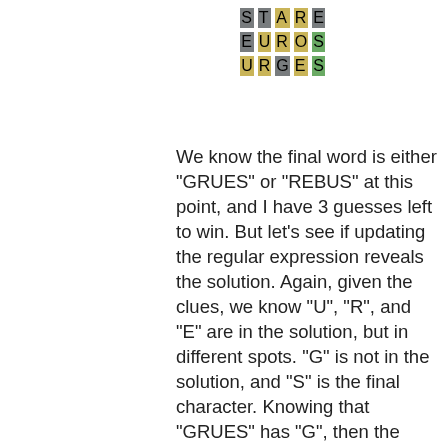[Figure (other): Wordle game grid showing three rows: STARE (gray, gray, yellow, yellow, gray), EUROS (gray, yellow, yellow, yellow, green), URGES (yellow, yellow, gray, yellow, green)]
We know the final word is either "GRUES" or "REBUS" at this point, and I have 3 guesses left to win. But let's see if updating the regular expression reveals the solution. Again, given the clues, we know "U", "R", and "E" are in the solution, but in different spots. "G" is not in the solution, and "S" is the final character. Knowing that "GRUES" has "G", then the solution should be